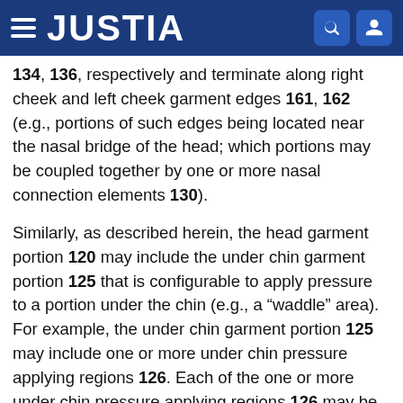JUSTIA
134, 136, respectively and terminate along right cheek and left cheek garment edges 161, 162 (e.g., portions of such edges being located near the nasal bridge of the head; which portions may be coupled together by one or more nasal connection elements 130).
Similarly, as described herein, the head garment portion 120 may include the under chin garment portion 125 that is configurable to apply pressure to a portion under the chin (e.g., a “waddle” area). For example, the under chin garment portion 125 may include one or more under chin pressure applying regions 126. Each of the one or more under chin pressure applying regions 126 may be controllable to apply pressure to a portion under the chin to assist in moving lymph therefrom.
Also, as described herein, the head garment portion 120